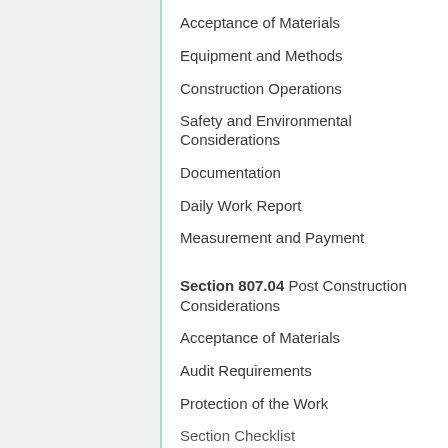Acceptance of Materials
Equipment and Methods
Construction Operations
Safety and Environmental Considerations
Documentation
Daily Work Report
Measurement and Payment
Section 807.04 Post Construction Considerations
Acceptance of Materials
Audit Requirements
Protection of the Work
Section Checklist